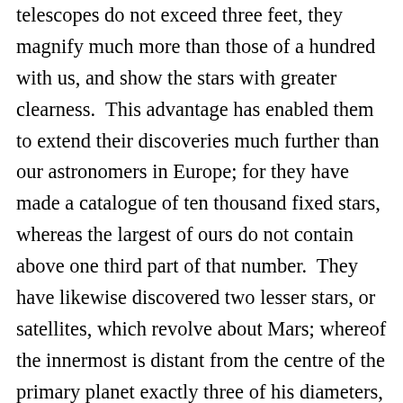telescopes do not exceed three feet, they magnify much more than those of a hundred with us, and show the stars with greater clearness.  This advantage has enabled them to extend their discoveries much further than our astronomers in Europe; for they have made a catalogue of ten thousand fixed stars, whereas the largest of ours do not contain above one third part of that number.  They have likewise discovered two lesser stars, or satellites, which revolve about Mars; whereof the innermost is distant from the centre of the primary planet exactly three of his diameters, and the outermost, five; the former revolves in the space of ten hours, and the latter in twenty-one and a half; so that